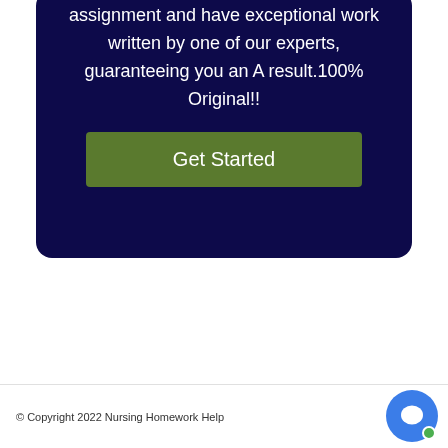assignment and have exceptional work written by one of our experts, guaranteeing you an A result.100% Original!!
[Figure (other): Green 'Get Started' button on dark navy background card]
© Copyright 2022 Nursing Homework Help